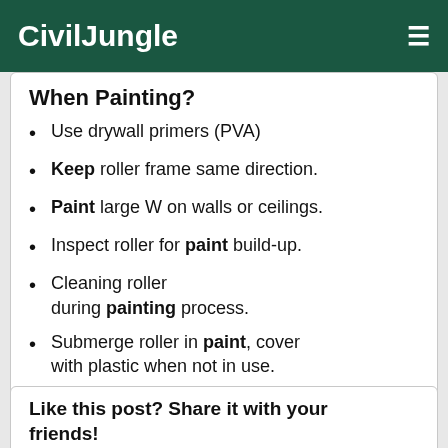CivilJungle
When Painting?
Use drywall primers (PVA)
Keep roller frame same direction.
Paint large W on walls or ceilings.
Inspect roller for paint build-up.
Cleaning roller during painting process.
Submerge roller in paint, cover with plastic when not in use.
Like this post? Share it with your friends!